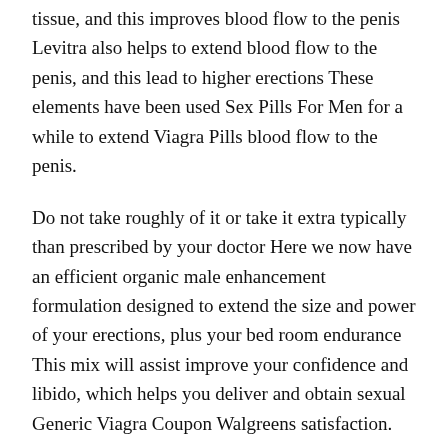tissue, and this improves blood flow to the penis Levitra also helps to extend blood flow to the penis, and this lead to higher erections These elements have been used Sex Pills For Men for a while to extend Viagra Pills blood flow to the penis.
Do not take roughly of it or take it extra typically than prescribed by your doctor Here we now have an efficient organic male enhancement formulation designed to extend the size and power of your erections, plus your bed room endurance This mix will assist improve your confidence and libido, which helps you deliver and obtain sexual Generic Viagra Coupon Walgreens satisfaction.
It just isn t identified why this happens but certain